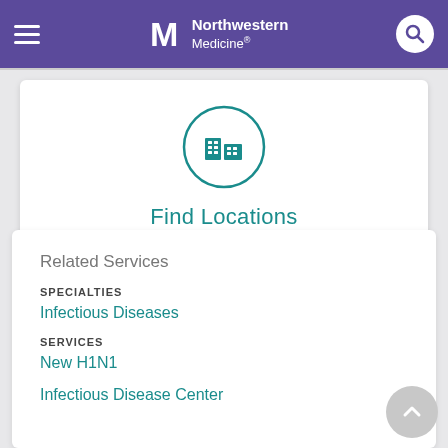Northwestern Medicine
[Figure (logo): Northwestern Medicine logo with hamburger menu and search icon in purple header bar]
[Figure (illustration): Building/location icon inside a teal circle with text Find Locations below]
Find Locations
Related Services
SPECIALTIES
Infectious Diseases
SERVICES
New H1N1
Infectious Disease Center